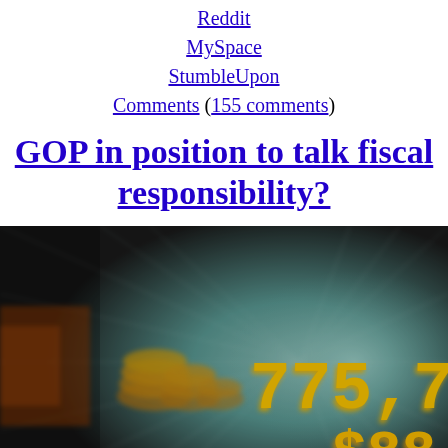Reddit
MySpace
StumbleUpon
Comments (155 comments)
GOP in position to talk fiscal responsibility?
[Figure (photo): A blurred, motion-zoom photo of a digital national debt clock display showing numbers including '775,786' and '$88' in bright yellow-orange LED digits against a teal/grey background with radial blur effect suggesting rapid increase.]